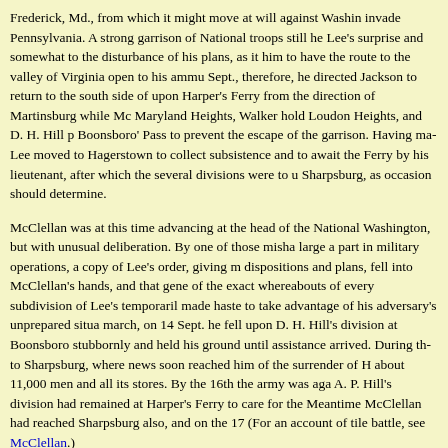Frederick, Md., from which it might move at will against Washington or invade Pennsylvania. A strong garrison of National troops still held, to Lee's surprise and somewhat to the disturbance of his plans, as it was necessary for him to have the route to the valley of Virginia open to his ammunition trains. 10 Sept., therefore, he directed Jackson to return to the south side of the Potomac, descend upon Harper's Ferry from the direction of Martinsburg while McLaws seized Maryland Heights, Walker hold Loudon Heights, and D. H. Hill protect Boonsboro' Pass to prevent the escape of the garrison. Having made these dispositions, Lee moved to Hagerstown to collect subsistence and to await the reduction of Harper's Ferry by his lieutenant, after which the several divisions were to unite about Sharpsburg, as occasion should determine.
McClellan was at this time advancing at the head of the National Army from Washington, but with unusual deliberation. By one of those mishaps which play so large a part in military operations, a copy of Lee's order, giving minutely his dispositions and plans, fell into McClellan's hands, and that general was informed of the exact whereabouts of every subdivision of Lee's temporarily scattered army. He made haste to take advantage of his adversary's unprepared situation, and, forcing his march, on 14 Sept. he fell upon D. H. Hill's division at Boonsboro'. Hill resisted stubbornly and held his ground until assistance arrived. During the fighting Lee fell back to Sharpsburg, where news soon reached him of the surrender of Harper's Ferry with about 11,000 men and all its stores. By the 16th the army was again united, except that A. P. Hill's division had remained at Harper's Ferry to care for the captured property. Meantime McClellan had reached Sharpsburg also, and on the 17th the battle was fought. (For an account of tile battle, see McClellan.)